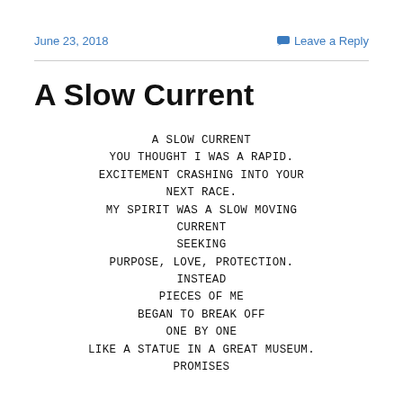June 23, 2018   Leave a Reply
A Slow Current
A SLOW CURRENT
YOU THOUGHT I WAS A RAPID.
EXCITEMENT CRASHING INTO YOUR
NEXT RACE.
MY SPIRIT WAS A SLOW MOVING
CURRENT
SEEKING
PURPOSE, LOVE, PROTECTION.
INSTEAD
PIECES OF ME
BEGAN TO BREAK OFF
ONE BY ONE
LIKE A STATUE IN A GREAT MUSEUM.
PROMISES